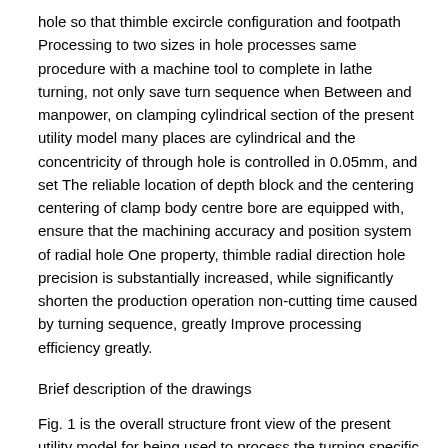hole so that thimble excircle configuration and footpath Processing to two sizes in hole processes same procedure with a machine tool to complete in lathe turning, not only save turn sequence when Between and manpower, on clamping cylindrical section of the present utility model many places are cylindrical and the concentricity of through hole is controlled in 0.05mm, and set The reliable location of depth block and the centering centering of clamp body centre bore are equipped with, ensure that the machining accuracy and position system of radial hole One property, thimble radial direction hole precision is substantially increased, while significantly shorten the production operation non-cutting time caused by turning sequence, greatly Improve processing efficiency greatly.
Brief description of the drawings
Fig. 1 is the overall structure front view of the present utility model for being used to process the turning specific purpose tool of thimble radial holeß
Fig. 2 is Fig. 1 left viewß